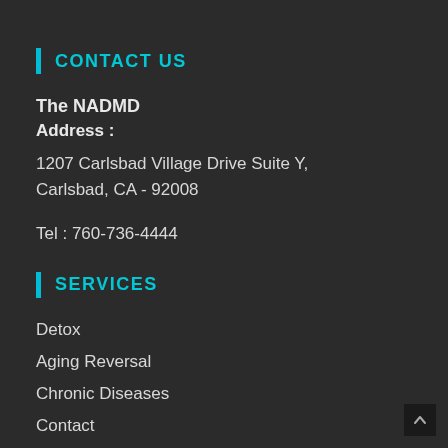CONTACT US
The NADMD
Address :
1207 Carlsbad Village Drive Suite Y,
Carlsbad, CA - 92008

Tel : 760-736-4444
SERVICES
Detox
Aging Reversal
Chronic Diseases
Contact